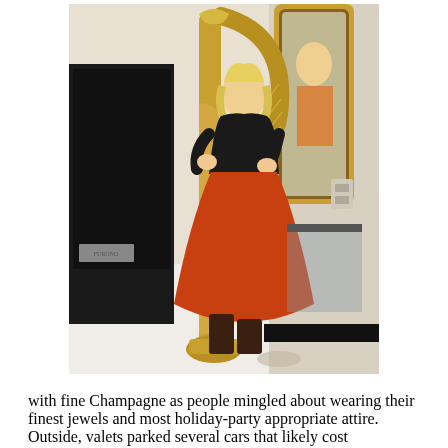[Figure (photo): A woman in a black top and orange/red full-length skirt plays a large ornate gold harp in what appears to be a jewelry store or upscale retail setting. A decorative gilt mirror is visible behind her, along with display cases.]
with fine Champagne as people mingled about wearing their finest jewels and most holiday-party appropriate attire. Outside, valets parked several cars that likely cost